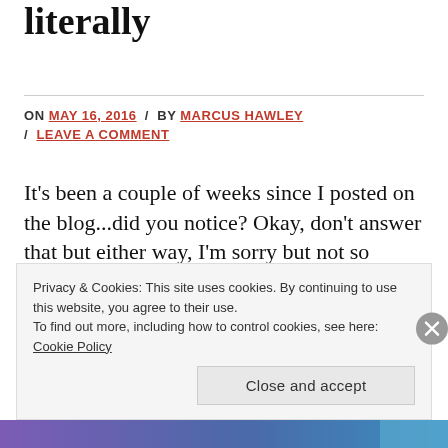literally
ON MAY 16, 2016 / BY MARCUS HAWLEY / LEAVE A COMMENT
It's been a couple of weeks since I posted on the blog...did you notice? Okay, don't answer that but either way, I'm sorry but not so sorry! It has been quite a busy and productive few
Privacy & Cookies: This site uses cookies. By continuing to use this website, you agree to their use.
To find out more, including how to control cookies, see here: Cookie Policy
Close and accept